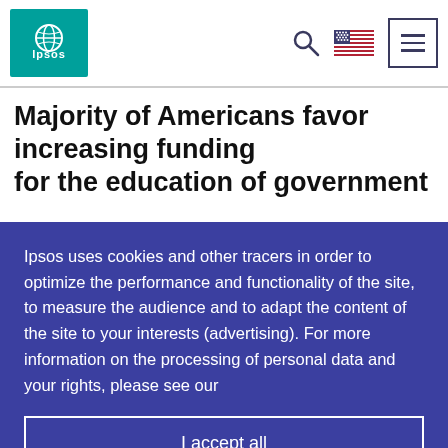[Figure (logo): Ipsos logo — teal/green square with white globe icon and 'Ipsos' text]
Majority of Americans favor increasing funding for the education of government
Ipsos uses cookies and other tracers in order to optimize the performance and functionality of the site, to measure the audience and to adapt the content of the site to your interests (advertising). For more information on the processing of personal data and your rights, please see our
I accept all
Customise Settings